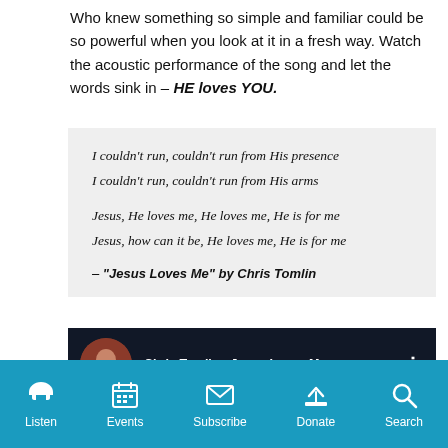Who knew something so simple and familiar could be so powerful when you look at it in a fresh way. Watch the acoustic performance of the song and let the words sink in – HE loves YOU.
I couldn't run, couldn't run from His presence
I couldn't run, couldn't run from His arms

Jesus, He loves me, He loves me, He is for me
Jesus, how can it be, He loves me, He is for me

– "Jesus Loves Me" by Chris Tomlin
[Figure (screenshot): YouTube video thumbnail showing Chris Tomlin - Jesus Loves Me... with a profile photo and menu icon]
Listen  Events  Subscribe  Donate  Search